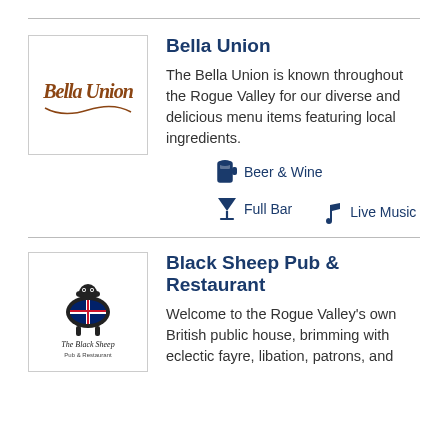[Figure (logo): Bella Union restaurant logo - stylized cursive script in brown/gold on white background]
Bella Union
The Bella Union is known throughout the Rogue Valley for our diverse and delicious menu items featuring local ingredients.
Beer & Wine
Full Bar
Live Music
[Figure (logo): The Black Sheep Pub & Restaurant logo - sheep illustration with Union Jack flag, text 'The Black Sheep Pub & Restaurant']
Black Sheep Pub & Restaurant
Welcome to the Rogue Valley's own British public house, brimming with eclectic fayre, libation, patrons, and